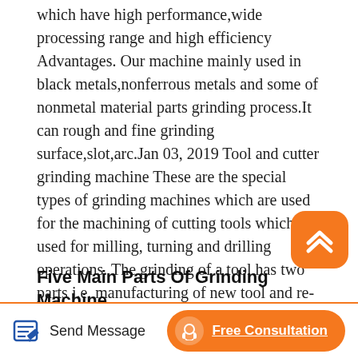which have high performance,wide processing range and high efficiency Advantages. Our machine mainly used in black metals,nonferrous metals and some of nonmetal material parts grinding process.It can rough and fine grinding surface,slot,arc.Jan 03, 2019 Tool and cutter grinding machine These are the special types of grinding machines which are used for the machining of cutting tools which are used for milling, turning and drilling operations. The grinding of a tool has two parts i.e. manufacturing of new tool and re-sharpening of old tool. The simple single point cutting tool which is used in turning is.
Five Main Parts Of Grinding Machine
Parts and accurate dimensions. Depending on the geometry of workpiece and the position at which
[Figure (other): Orange rounded square button with upward chevron arrow icon (scroll to top button)]
Send Message   Free Consultation